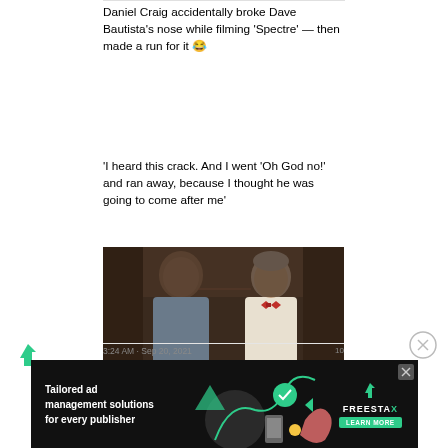Daniel Craig accidentally broke Dave Bautista's nose while filming 'Spectre' — then made a run for it 😂
'I heard this crack. And I went 'Oh God no!' and ran away, because I thought he was going to come after me'
(via @TheGNShow | bit.ly/39FHmaP)
[Figure (photo): Two men facing each other in a close confrontation scene, one bald man on the left facing a grey-haired man on the right wearing a white jacket with bow tie, appearing to be from the film Spectre.]
[Figure (advertisement): Tailored ad management solutions for every publisher - FreeStax advertisement banner with dark background and colorful graphic elements.]
3:24 AM · Sep 20, 2021